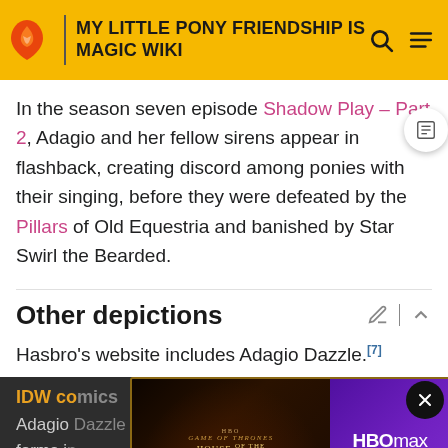MY LITTLE PONY FRIENDSHIP IS MAGIC WIKI
In the season seven episode Shadow Play - Part 2, Adagio and her fellow sirens appear in flashback, creating discord among ponies with their singing, before they were defeated by the Pillars of Old Equestria and banished by Star Swirl the Bearded.
Other depictions
Hasbro's website includes Adagio Dazzle.[7]
IDW comics
Adagio Dazzle appears in her siren forms in My Little Pony: Friendship is Magic Issue #3
[Figure (screenshot): Advertisement for HBO Max - House of the Dragon promotional banner with dark fantasy imagery and HBO Max logo with Sign Up Now button]